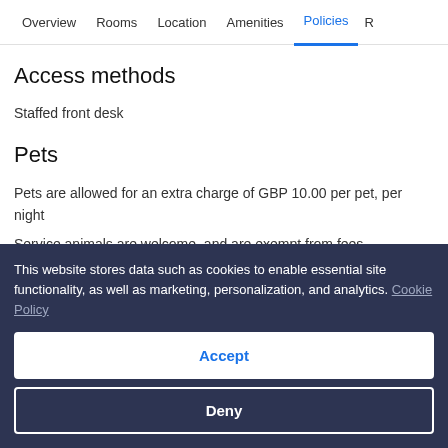Overview | Rooms | Location | Amenities | Policies | R
Access methods
Staffed front desk
Pets
Pets are allowed for an extra charge of GBP 10.00 per pet, per night
Service animals are welcome, and are exempt from fees
Welcoming dogs only
This website stores data such as cookies to enable essential site functionality, as well as marketing, personalization, and analytics. Cookie Policy
Accept
Deny